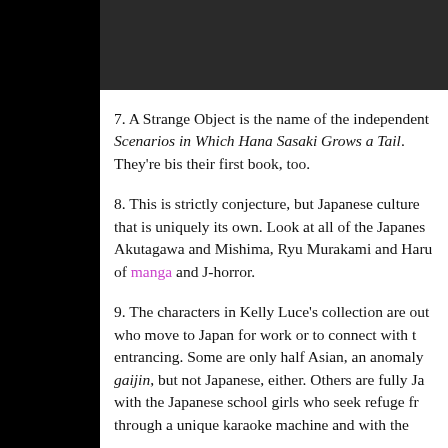7. A Strange Object is the name of the independent ... Scenarios in Which Hana Sasaki Grows a Tail. They're b... is their first book, too.
8. This is strictly conjecture, but Japanese culture ... that is uniquely its own. Look at all of the Japanese... Akutagawa and Mishima, Ryu Murakami and Haru... of manga and J-horror.
9. The characters in Kelly Luce's collection are out... who move to Japan for work or to connect with t... entrancing. Some are only half Asian, an anomaly... gaijin, but not Japanese, either. Others are fully Ja... with the Japanese school girls who seek refuge fr... through a unique karaoke machine and with the...